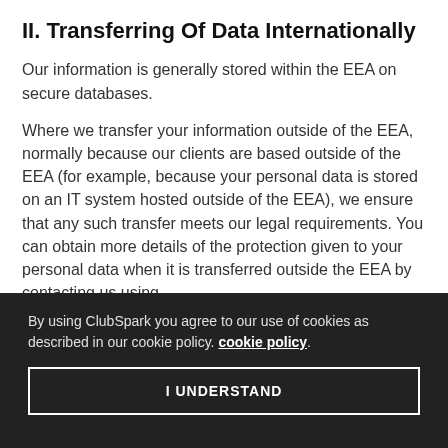II. Transferring Of Data Internationally
Our information is generally stored within the EEA on secure databases.
Where we transfer your information outside of the EEA, normally because our clients are based outside of the EEA (for example, because your personal data is stored on an IT system hosted outside of the EEA), we ensure that any such transfer meets our legal requirements. You can obtain more details of the protection given to your personal data when it is transferred outside the EEA by contacting us using
By using ClubSpark you agree to our use of cookies as described in our cookie policy. cookie policy.
I UNDERSTAND